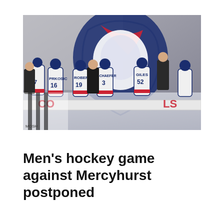[Figure (photo): Hockey team huddle at the bench during a game, with coaches addressing players wearing white jerseys with numbers including 7, 16 (PRKOSIC), 19 (ROBERT), 3 (SCHAEFER), 5 (GILES), 52. A large university mascot logo (patriot/eagle in blue, red, and white) is visible on the wall in the background.]
Men's hockey game against Mercyhurst postponed